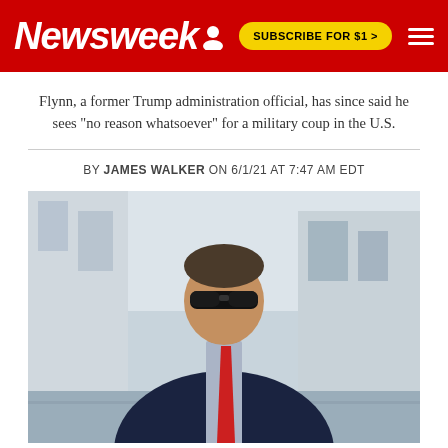Newsweek
Flynn, a former Trump administration official, has since said he sees "no reason whatsoever" for a military coup in the U.S.
BY JAMES WALKER ON 6/1/21 AT 7:47 AM EDT
[Figure (photo): Man in dark navy suit with red tie and sunglasses walking outdoors near a building]